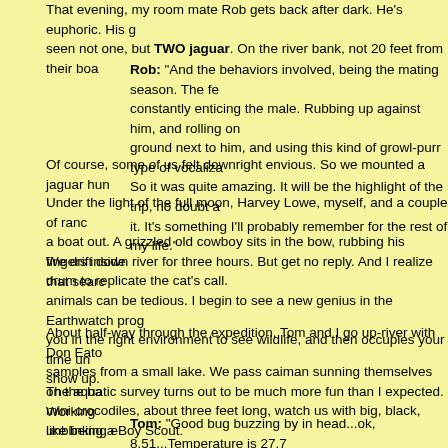That evening, my room mate Rob gets back after dark. He's euphoric. His group had seen not one, but TWO jaguar. On the river bank, not 20 feet from their boa
Rob: "And the behaviors involved, being the mating season. The fe constantly enticing the male. Rubbing up against him, and rolling on ground next to him, and using this kind of growl-purr type of vocaliza So it was quite amazing. It will be the highlight of the trip, no doubt a it. It's something I'll probably remember for the rest of my life."
Of course, some of us felt downright envious. So we mounted a jaguar hun
Under the light of the full moon, Harvey Lowe, myself, and a couple of ranc a boat out. A grizzled old cowboy sits in the bow, rubbing his fingers inside drum to replicate the cat's call.
We drift down river for three hours. But get no reply. And I realize that sear animals can be tedious. I begin to see a new genius in the Earthwatch prog you in the right environment to see wildlife, and then occupies your time un show up.
About half-way through the expedition, Tom and I go up-river with Don Eato samples from a small lake. We pass caiman sunning themselves on the ba mini-crocodiles, about three feet long, watch us with big, black, unblinking e
The aquatic survey turns out to be much more fun than I expected. Working like being a Boy Scout.
Tom: "Good bug buzzing by in head...ok, 8.51...Temperature is 27.7 degrees Celsius."
Jeff: "Does it seem at all weird to wade out here with piranhas and caiman?"